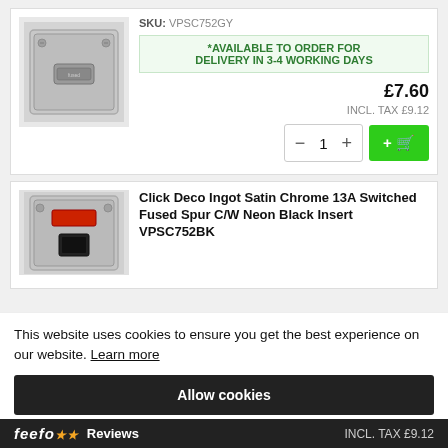[Figure (photo): Photo of a brushed satin chrome fused spur switch socket with grey insert]
SKU: VPSC752GY
*AVAILABLE TO ORDER FOR DELIVERY IN 3-4 WORKING DAYS
£7.60
INCL. TAX £9.12
[Figure (photo): Photo of a brushed satin chrome 13A switched fused spur with neon and black insert VPSC752BK]
Click Deco Ingot Satin Chrome 13A Switched Fused Spur C/W Neon Black Insert VPSC752BK
This website uses cookies to ensure you get the best experience on our website. Learn more
Allow cookies
feefo Reviews INCL. TAX £9.12